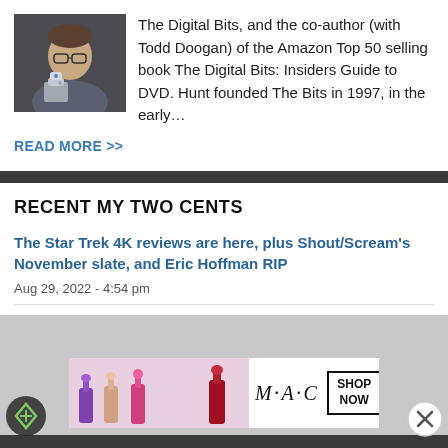[Figure (photo): Author photo: man with glasses holding a robot/sculpture]
The Digital Bits, and the co-author (with Todd Doogan) of the Amazon Top 50 selling book The Digital Bits: Insiders Guide to DVD. Hunt founded The Bits in 1997, in the early…
READ MORE >>
RECENT MY TWO CENTS
The Star Trek 4K reviews are here, plus Shout/Scream's November slate, and Eric Hoffman RIP
Aug 29, 2022 - 4:54 pm
[Figure (photo): MAC cosmetics advertisement banner with lipsticks and SHOP NOW box]